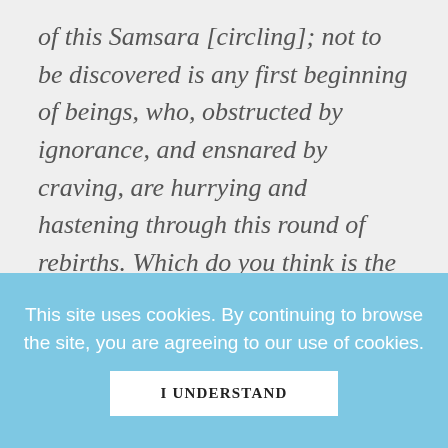of this Samsara [circling]; not to be discovered is any first beginning of beings, who, obstructed by ignorance, and ensnared by craving, are hurrying and hastening through this round of rebirths. Which do you think is the more: the flood of tears, which weeping and
This site uses cookies. By continuing to browse the site, you are agreeing to our use of cookies.
I UNDERSTAND